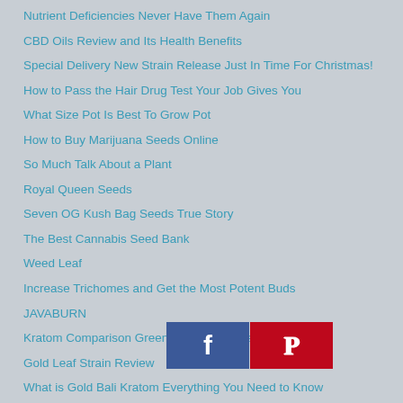Nutrient Deficiencies Never Have Them Again
CBD Oils Review and Its Health Benefits
Special Delivery New Strain Release Just In Time For Christmas!
How to Pass the Hair Drug Test Your Job Gives You
What Size Pot Is Best To Grow Pot
How to Buy Marijuana Seeds Online
So Much Talk About a Plant
Royal Queen Seeds
Seven OG Kush Bag Seeds True Story
The Best Cannabis Seed Bank
Weed Leaf
Increase Trichomes and Get the Most Potent Buds
JAVABURN
Kratom Comparison Green Red and White Vietnam
Gold Leaf Strain Review
What is Gold Bali Kratom Everything You Need to Know
Gold Leaf Strain
[Figure (other): Social sharing buttons: Facebook (blue) and Pinterest (red) icons]